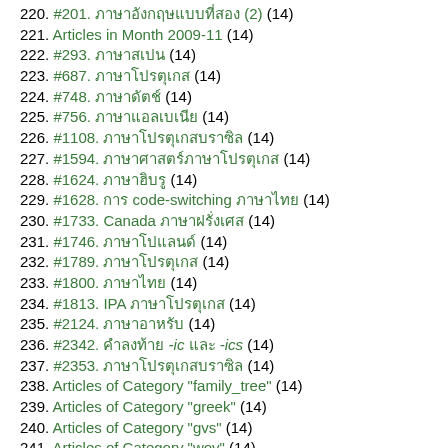220. #201. ภาษาอังกฤษแบบที่สอง (2) (14)
221. Articles in Month 2009-11 (14)
222. #293. ภาษาสเปน (14)
223. #687. ภาษาโปรตุเกส (14)
224. #748. ภาษาดัตช์ (14)
225. #756. ภาษาแอลเบเนีย (14)
226. #1108. ภาษาโปรตุเกสบราซิล (14)
227. #1594. ภาษาศาสตร์ภาษาโปรตุเกส (14)
228. #1624. ภาษาฮิบรู (14)
229. #1628. การ code-switching ภาษาไทย (14)
230. #1733. Canada ภาษาฝรั่งเศส (14)
231. #1746. ภาษาโปแลนด์ (14)
232. #1789. ภาษาโปรตุเกส (14)
233. #1800. ภาษาไทย (14)
234. #1813. IPA ภาษาโปรตุเกส (14)
235. #2124. ภาษาอาหรับ (14)
236. #2342. คำลงท้าย -ic และ -ics (14)
237. #2353. ภาษาโปรตุเกสบราซิล (14)
238. Articles of Category "family_tree" (14)
239. Articles of Category "greek" (14)
240. Articles of Category "gvs" (14)
241. Articles of Category "woy" (14)
242. #27. ภาษาศาสตร์ (13)
243. #89. one ภาษาอังกฤษ (13)
244. #115. ภาษาอังกฤษ (13)